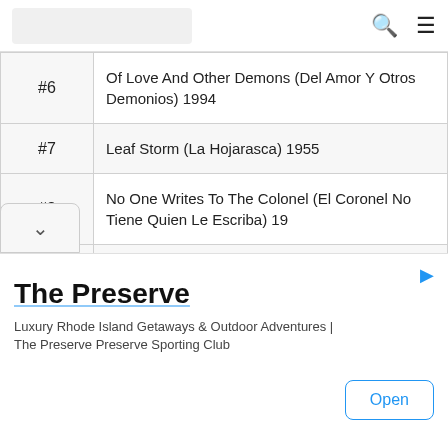[Logo] [Search] [Menu]
| # | Title |
| --- | --- |
| #6 | Of Love And Other Demons (Del Amor Y Otros Demonios) 1994 |
| #7 | Leaf Storm (La Hojarasca) 1955 |
| #8 | No One Writes To The Colonel (El Coronel No Tiene Quien Le Escriba) 19 |
| #9 | Chronicle Of A Death Foretold (Crónica De Una Muerte Anunciada) 1981 |
|  | Memories Of My Melancholy Whores |
The Preserve
Luxury Rhode Island Getaways & Outdoor Adventures | The Preserve Preserve Sporting Club
Open